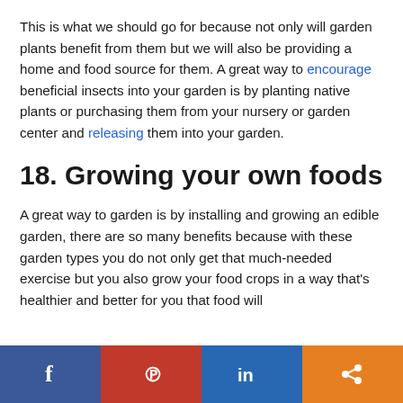This is what we should go for because not only will garden plants benefit from them but we will also be providing a home and food source for them. A great way to encourage beneficial insects into your garden is by planting native plants or purchasing them from your nursery or garden center and releasing them into your garden.
18. Growing your own foods
A great way to garden is by installing and growing an edible garden, there are so many benefits because with these garden types you do not only get that much-needed exercise but you also grow your food crops in a way that's healthier...
[Figure (other): Social media share bar with Facebook, Pinterest, LinkedIn, and share buttons]